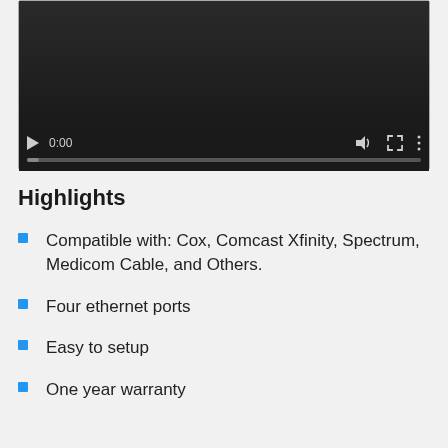[Figure (screenshot): Video player with dark background showing playback controls: play button, time display '0:00', volume icon, fullscreen icon, more options icon, and a progress bar at the bottom.]
Highlights
Compatible with: Cox, Comcast Xfinity, Spectrum, Medicom Cable, and Others.
Four ethernet ports
Easy to setup
One year warranty